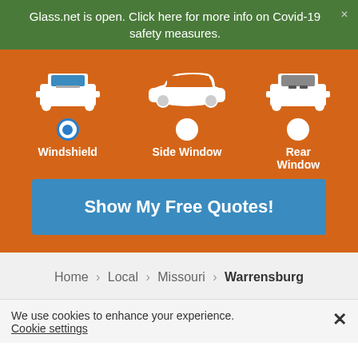Glass.net is open. Click here for more info on Covid-19 safety measures.
[Figure (illustration): Three car option selector with Windshield (selected), Side Window, and Rear Window options with radio buttons on orange background]
Show My Free Quotes!
Home > Local > Missouri > Warrensburg
We use cookies to enhance your experience. Cookie settings